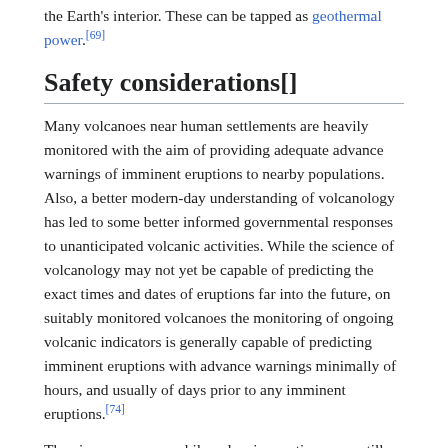the Earth's interior. These can be tapped as geothermal power.[69]
Safety considerations[]
Many volcanoes near human settlements are heavily monitored with the aim of providing adequate advance warnings of imminent eruptions to nearby populations. Also, a better modern-day understanding of volcanology has led to some better informed governmental responses to unanticipated volcanic activities. While the science of volcanology may not yet be capable of predicting the exact times and dates of eruptions far into the future, on suitably monitored volcanoes the monitoring of ongoing volcanic indicators is generally capable of predicting imminent eruptions with advance warnings minimally of hours, and usually of days prior to any imminent eruptions.[74]
Thus in many cases, while volcanic eruptions may still cause major property destruction, the periodic large-scale loss of human life that was once associated with many volcanic eruptions has recently been significantly reduced in areas where volcanoes are adequately monitored. This life-saving ability is derived via such volcanic-activity monitoring programs, through the greater abilities of local officials to facilitate timely evacuations based upon the